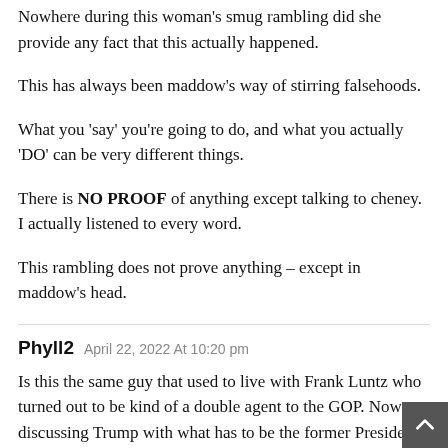Nowhere during this woman's smug rambling did she provide any fact that this actually happened.
This has always been maddow's way of stirring falsehoods.
What you 'say' you're going to do, and what you actually 'DO' can be very different things.
There is NO PROOF of anything except talking to cheney. I actually listened to every word.
This rambling does not prove anything – except in maddow's head.
Phyll2   April 22, 2022 At 10:20 pm
Is this the same guy that used to live with Frank Luntz who turned out to be kind of a double agent to the GOP. Now discussing Trump with what has to be the former President's worst enemy in the GOP, and PINO/democrat, Liz Cheney? Is this the guy who sends